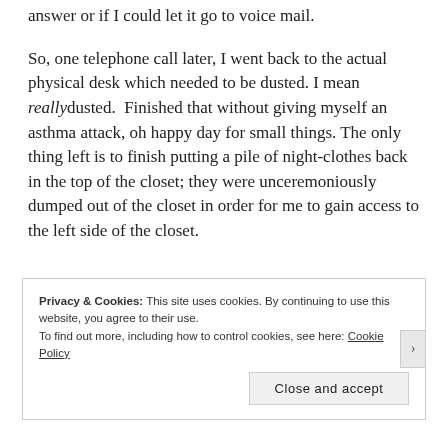answer or if I could let it go to voice mail.
So, one telephone call later, I went back to the actual physical desk which needed to be dusted. I mean really dusted. Finished that without giving myself an asthma attack, oh happy day for small things. The only thing left is to finish putting a pile of night-clothes back in the top of the closet; they were unceremoniously dumped out of the closet in order for me to gain access to the left side of the closet.
Privacy & Cookies: This site uses cookies. By continuing to use this website, you agree to their use. To find out more, including how to control cookies, see here: Cookie Policy
Close and accept